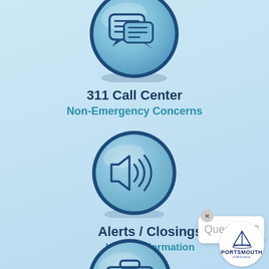[Figure (infographic): Blue circular button with chat/speech bubble icon (311 Call Center)]
311 Call Center
Non-Emergency Concerns
[Figure (infographic): Blue circular button with speaker/sound icon (Alerts / Closings)]
Alerts / Closings
Latest Information
[Figure (infographic): Blue circular button with briefcase icon (partially visible at bottom)]
[Figure (infographic): Questions? chat popup widget with X close button]
[Figure (logo): Portsmouth Virginia circular logo with sailboat graphic]